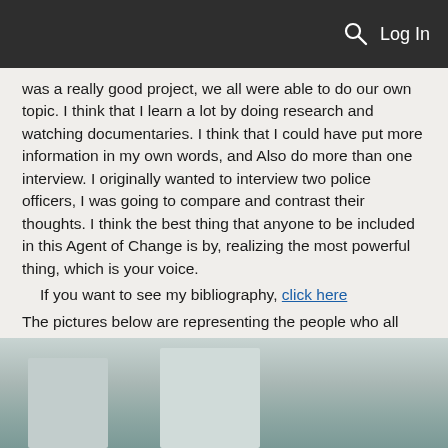Log In
was a really good project, we all were able to do our own topic. I think that I learn a lot by doing research and watching documentaries. I think that I could have put more information in my own words, and Also do more than one interview. I originally wanted to interview two police officers, I was going to compare and contrast their thoughts. I think the best thing that anyone to be included in this Agent of Change is by, realizing the most powerful thing, which is your voice.
If you want to see my bibliography, click here
The pictures below are representing the people who all came out and participated in the conversation that was held during class. Thanks!!
[Figure (photo): Photograph showing blurred/partial view of people or objects in a classroom setting, light-colored background with white and gray shapes visible.]